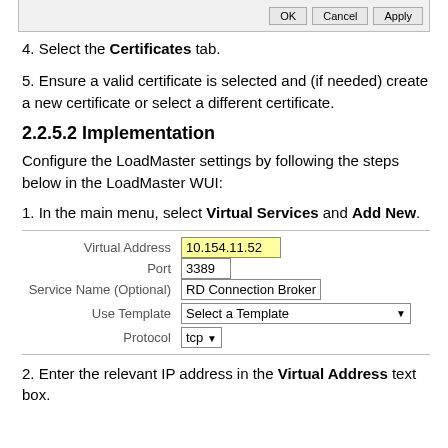[Figure (screenshot): Dialog window bottom bar with OK, Cancel, Apply buttons]
4. Select the Certificates tab.
5. Ensure a valid certificate is selected and (if needed) create a new certificate or select a different certificate.
2.2.5.2 Implementation
Configure the LoadMaster settings by following the steps below in the LoadMaster WUI:
1. In the main menu, select Virtual Services and Add New.
[Figure (screenshot): Form with fields: Virtual Address (10.154.11.52, highlighted yellow), Port (3389), Service Name (Optional) (RD Connection Broker), Use Template (Select a Template dropdown), Protocol (tcp dropdown)]
2. Enter the relevant IP address in the Virtual Address text box.